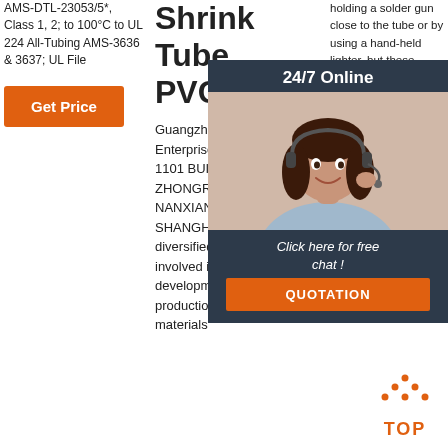AMS-DTL-23053/5*, Class 1, 2; to 100°C to UL 224 All-Tubing AMS-3636 & 3637; UL File
Get Price
Shrink Tube, PVC
Guangzhou Kaiheng Enterprise Group Co.,ROOM 1101 BUILDING B NO.399 ZHONGREN ROAD. NANXIANG JIADING SHANGHAI, CHINA is a diversified group primarily involved in the research and development, sales and production of new polymer materials
holding a solder gun close to the tube or by using a hand-held lighter, but these methods are not recommended. Heat shrink tubing is classified as a material ranging from the supplied diameter to the un-shrunk
[Figure (photo): Customer service agent with headset, smiling, within a dark blue chat popup overlay showing '24/7 Online', 'Click here for free chat!', and a QUOTATION button]
Get
[Figure (other): Orange dotted triangle/arrow pointing up with 'TOP' text in orange below it, serving as a back-to-top button]